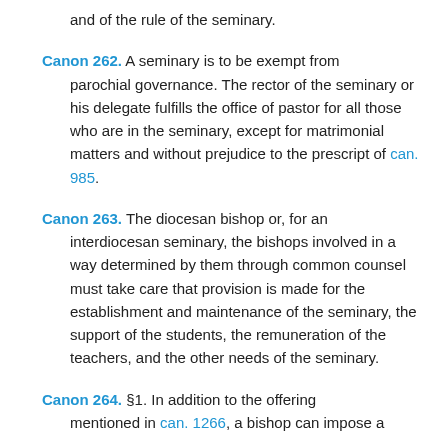and of the rule of the seminary.
Canon 262. A seminary is to be exempt from parochial governance. The rector of the seminary or his delegate fulfills the office of pastor for all those who are in the seminary, except for matrimonial matters and without prejudice to the prescript of can. 985.
Canon 263. The diocesan bishop or, for an interdiocesan seminary, the bishops involved in a way determined by them through common counsel must take care that provision is made for the establishment and maintenance of the seminary, the support of the students, the remuneration of the teachers, and the other needs of the seminary.
Canon 264. §1. In addition to the offering mentioned in can. 1266, a bishop can impose a